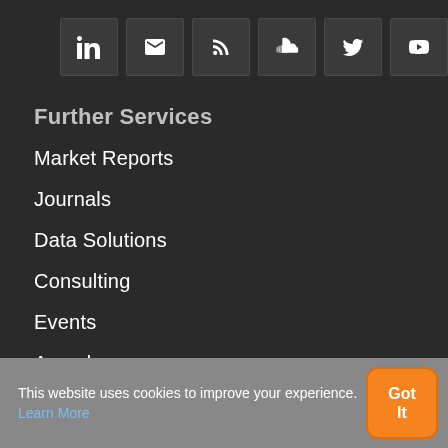[Figure (other): Row of six social media icon buttons: LinkedIn, Email, RSS, SoundCloud, Twitter, YouTube]
Further Services
Market Reports
Journals
Data Solutions
Consulting
Events
Awards
Patient Acquisition
This website uses cookies to improve your experience. Learn More
Got It